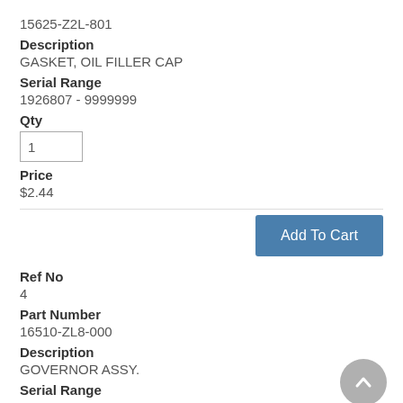15625-Z2L-801
Description
GASKET, OIL FILLER CAP
Serial Range
1926807 - 9999999
Qty
1
Price
$2.44
Add To Cart
Ref No
4
Part Number
16510-ZL8-000
Description
GOVERNOR ASSY.
Serial Range
1000001 - 9999999